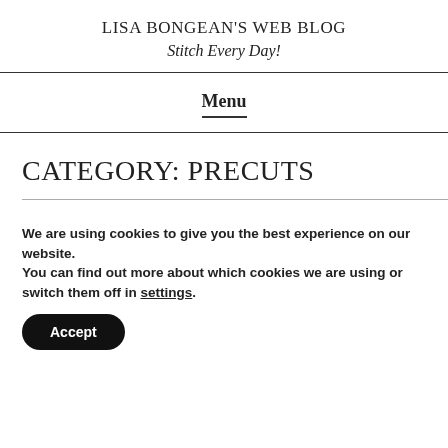LISA BONGEAN'S WEB BLOG
Stitch Every Day!
Menu
CATEGORY: PRECUTS
We are using cookies to give you the best experience on our website.
You can find out more about which cookies we are using or switch them off in settings.
Accept